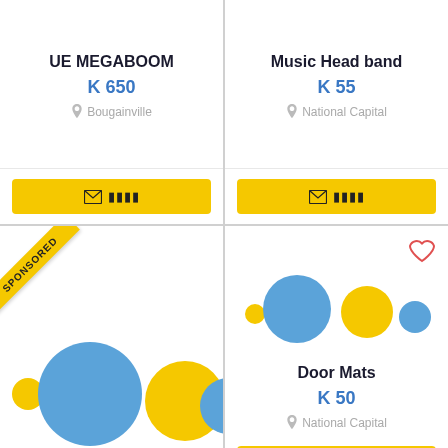UE MEGABOOM
K 650
Bougainville
Music Head band
K 55
National Capital
[Figure (illustration): Product card with SPONSORED ribbon and placeholder circles (blue, yellow) for product image]
[Figure (illustration): Product card with heart icon and placeholder circles (blue, yellow) for Door Mats product. Title: Door Mats, Price: K 50, Location: National Capital]